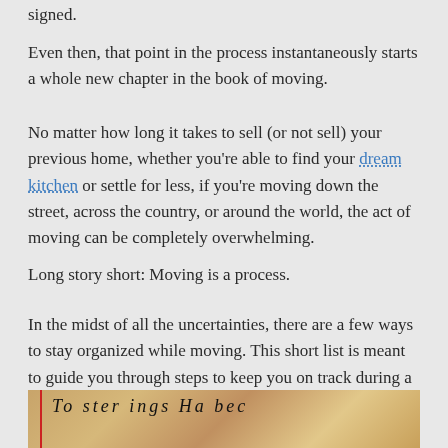signed.
Even then, that point in the process instantaneously starts a whole new chapter in the book of moving.
No matter how long it takes to sell (or not sell) your previous home, whether you're able to find your dream kitchen or settle for less, if you're moving down the street, across the country, or around the world, the act of moving can be completely overwhelming.
Long story short: Moving is a process.
In the midst of all the uncertainties, there are a few ways to stay organized while moving. This short list is meant to guide you through steps to keep you on track during a stressful time.
[Figure (photo): A photograph of handwritten notes or a to-do list on paper, with a cyan/turquoise border, showing cursive handwriting partially visible.]